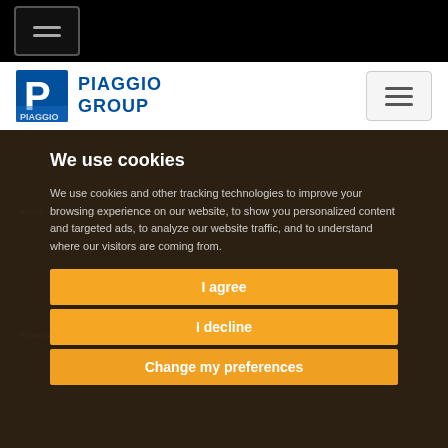[Figure (screenshot): Top black navigation bar with hamburger menu icon (three horizontal lines in a bordered box)]
[Figure (logo): Piaggio Group logo with blue P icon and PIAGGIO GROUP text, plus hamburger menu icon on right]
HOME>GOOD START FOR THE NEW 2022 APRILIA RS-GP
FEBRUARY 08, 2022 - APRILIA R...
GOOD START FOR THE NEW 2022 APRILIA RS-GP
ALEX AND MAVER... Y BUT IT'S THE FEELING THAT GIVES THEM MORE CONFIDENCE
We use cookies
We use cookies and other tracking technologies to improve your browsing experience on our website, to show you personalized content and targeted ads, to analyze our website traffic, and to understand where our visitors are coming from.
I agree
I decline
Change my preferences